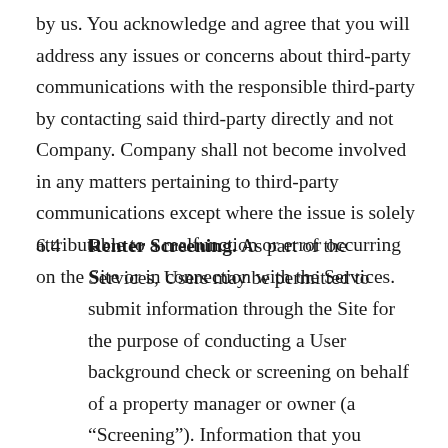by us. You acknowledge and agree that you will address any issues or concerns about third-party communications with the responsible third-party by contacting said third-party directly and not Company. Company shall not become involved in any matters pertaining to third-party communications except where the issue is solely attributable to a malfunction or error occurring on the Site or in connection with the Services.
6.4 Renter Screening. As part of the Services, Users may be permitted to submit information through the Site for the purpose of conducting a User background check or screening on behalf of a property manager or owner (a “Screening”). Information that you submit through the Site for the purpose of such Screening shall be treated in accordance with the Privacy Policy. Your submission of